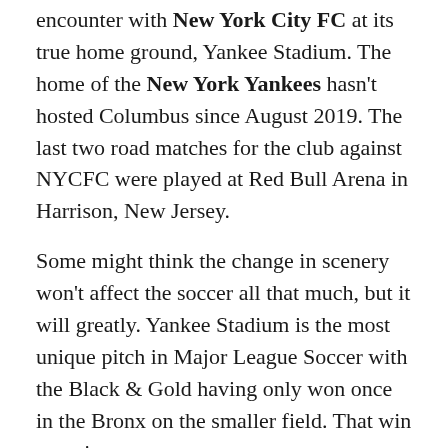encounter with New York City FC at its true home ground, Yankee Stadium. The home of the New York Yankees hasn't hosted Columbus since August 2019. The last two road matches for the club against NYCFC were played at Red Bull Arena in Harrison, New Jersey.
Some might think the change in scenery won't affect the soccer all that much, but it will greatly. Yankee Stadium is the most unique pitch in Major League Soccer with the Black & Gold having only won once in the Bronx on the smaller field. That win was six years ago.
“It’s definitely tight. It’s 70 yards wide,” said Crew head coach Caleb Porter this week. “We actually lined our second pitch (at the OhioHealth Performance Center)